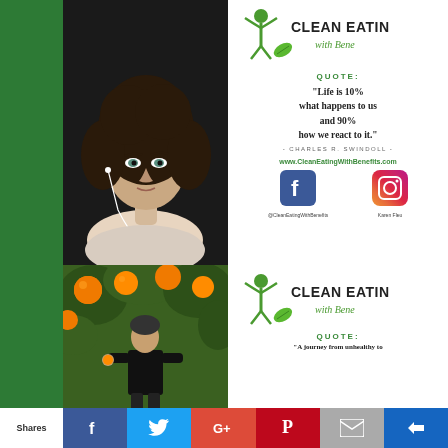[Figure (photo): Portrait photo of a woman with curly dark hair wearing earbuds and a beige top, dark background]
[Figure (logo): Clean Eating with Benefits logo - green figure with arms raised and leaf]
QUOTE:
"Life is 10% what happens to us and 90% how we react to it."
- CHARLES R. SWINDOLL -
www.CleanEatingWithBenefits.com
[Figure (logo): Facebook icon blue square with f]
[Figure (logo): Instagram icon colorful square]
@CleanEatingWithBenefits
Karen Fleu
[Figure (photo): Person standing in front of orange tree holding an orange, wearing black shirt]
[Figure (logo): Clean Eating with Benefits logo - green figure with arms raised and leaf]
QUOTE:
Shares